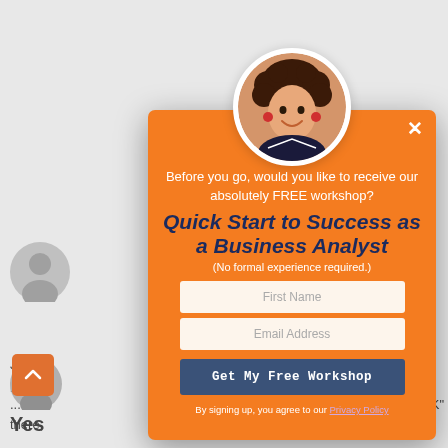[Figure (screenshot): Background webpage with user comment section partially visible, showing avatar icons, text fragments ('Just s...', 'proce...', '... the', 'there,', 'BOK"', 'Ye...'), an orange scroll-up button, and a Reply link in orange.]
[Figure (infographic): Modal popup on orange background with a circular profile photo of a smiling woman with curly hair and red earrings at the top. Contains headline text, title, subtitle, two input fields (First Name, Email Address), a dark blue call-to-action button, and privacy policy footer. Close (X) button in top right.]
Before you go, would you like to receive our absolutely FREE workshop?
Quick Start to Success as a Business Analyst
(No formal experience required.)
First Name
Email Address
Get My Free Workshop
By signing up, you agree to our Privacy Policy